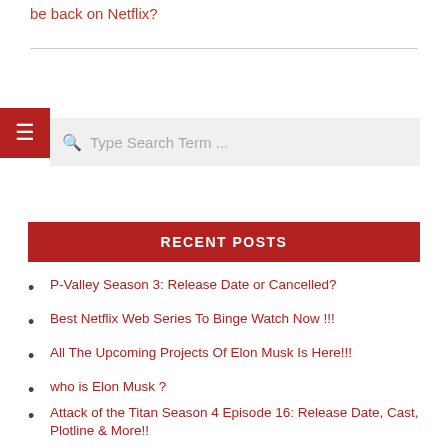be back on Netflix?
RECENT POSTS
P-Valley Season 3: Release Date or Cancelled?
Best Netflix Web Series To Binge Watch Now !!!
All The Upcoming Projects Of Elon Musk Is Here!!!
who is Elon Musk ?
Attack of the Titan Season 4 Episode 16: Release Date, Cast, Plotline & More!!